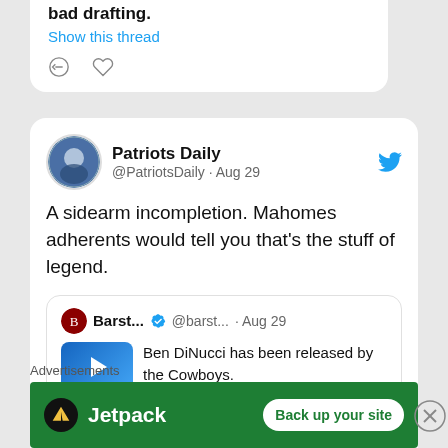bad drafting.
Show this thread
Patriots Daily @PatriotsDaily · Aug 29
A sidearm incompletion. Mahomes adherents would tell you that's the stuff of legend.
Barst... @barst... · Aug 29  Ben DiNucci has been released by the Cowboys.  May we never forget the moments he gave us.
Advertisements
[Figure (screenshot): Jetpack advertisement banner with green background showing Jetpack logo and 'Back up your site' button]